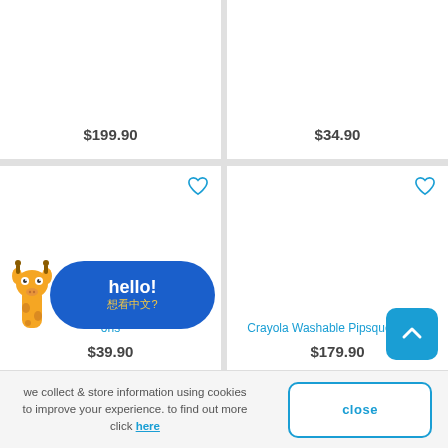$199.90
$34.90
t Mini Twistables ons
$39.90
Crayola Washable Pipsqueaks Kit
$179.90
[Figure (illustration): Giraffe mascot with hello bubble saying 'hello! 想看中文?']
we collect & store information using cookies to improve your experience. to find out more click here